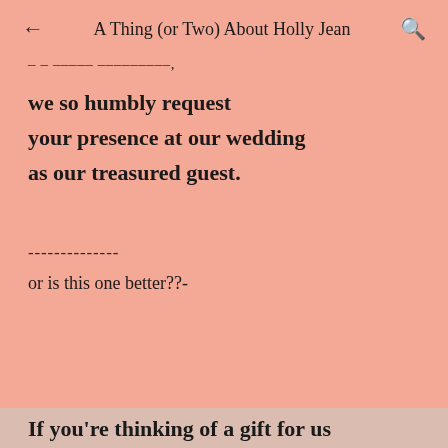← A Thing (or Two) About Holly Jean 🔍
– – – – – – – – – – – – – – –,
we so humbly request
your presence at our wedding
as our treasured guest.
--------------
or is this one better??-
If you're thinking of a gift for us